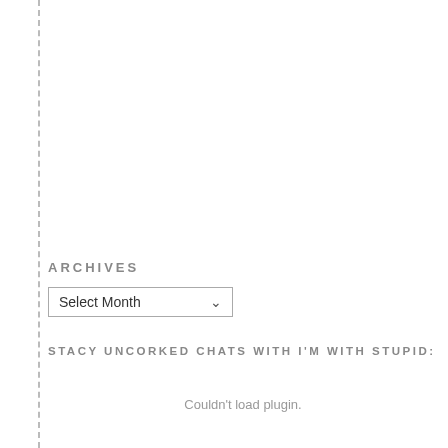ARCHIVES
[Figure (screenshot): A dropdown select box labeled 'Select Month' with a downward chevron arrow]
STACY UNCORKED CHATS WITH I'M WITH STUPID:
Couldn't load plugin.